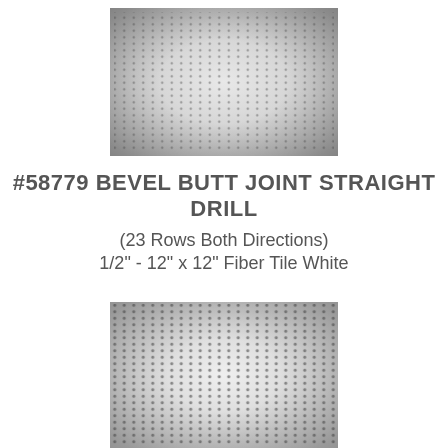[Figure (photo): Close-up photograph of a white fiber ceiling tile showing a straight drill pattern with 23 rows of small holes in both directions — bevel butt joint style. The tile appears light gray/white with a regular grid of small perforations visible across the surface.]
#58779 BEVEL BUTT JOINT STRAIGHT DRILL (23 Rows Both Directions) 1/2" - 12" x 12" Fiber Tile White
[Figure (photo): Close-up photograph of the same white fiber ceiling tile product showing the straight drill perforation pattern from a slightly different angle or lighting, revealing the regular grid of holes more clearly with larger visible perforations.]